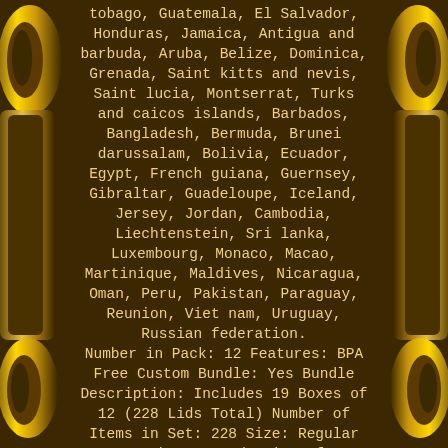tobago, Guatemala, El Salvador, Honduras, Jamaica, Antigua and barbuda, Aruba, Belize, Dominica, Grenada, Saint kitts and nevis, Saint lucia, Montserrat, Turks and caicos islands, Barbados, Bangladesh, Bermuda, Brunei darussalam, Bolivia, Ecuador, Egypt, French guiana, Guernsey, Gibraltar, Guadeloupe, Iceland, Jersey, Jordan, Cambodia, Liechtenstein, Sri lanka, Luxembourg, Monaco, Macao, Martinique, Maldives, Nicaragua, Oman, Peru, Pakistan, Paraguay, Reunion, Viet nam, Uruguay, Russian federation. Number in Pack: 12 Features: BPA Free Custom Bundle: Yes Bundle Description: Includes 19 Boxes of 12 (228 Lids Total) Number of Items in Set: 228 Size: Regular Mouth Country/Region of